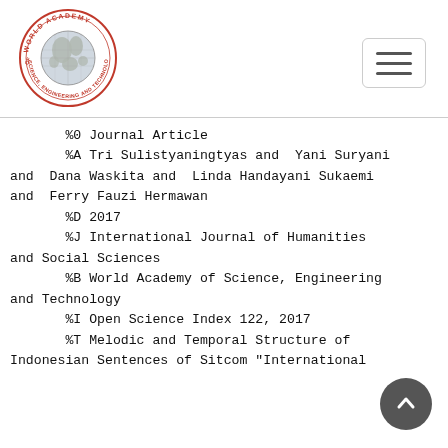[Figure (logo): World Academy of Science, Engineering and Technology circular logo with globe]
%0 Journal Article
%A Tri Sulistyaningtyas and  Yani Suryani and  Dana Waskita and  Linda Handayani Sukaemi and  Ferry Fauzi Hermawan
%D 2017
%J International Journal of Humanities and Social Sciences
%B World Academy of Science, Engineering and Technology
%I Open Science Index 122, 2017
%T Melodic and Temporal Structure of Indonesian Sentences of Sitcom "International